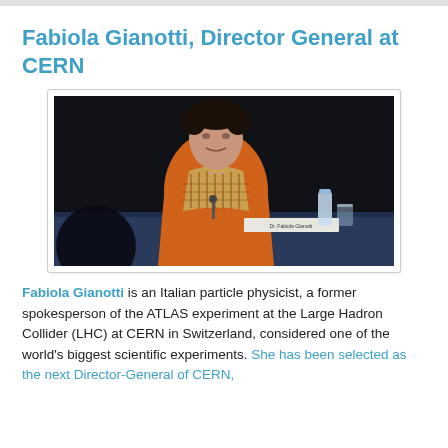Fabiola Gianotti, Director General at CERN
[Figure (photo): Photo of Fabiola Gianotti seated at a table with a nameplate reading 'Dr. Fabiola Gianotti', wearing an orange jacket and plaid scarf, in front of a dark background. A water bottle and glass are visible on the table to her right.]
Fabiola Gianotti is an Italian particle physicist, a former spokesperson of the ATLAS experiment at the Large Hadron Collider (LHC) at CERN in Switzerland, considered one of the world's biggest scientific experiments. She has been selected as the next Director-General of CERN,